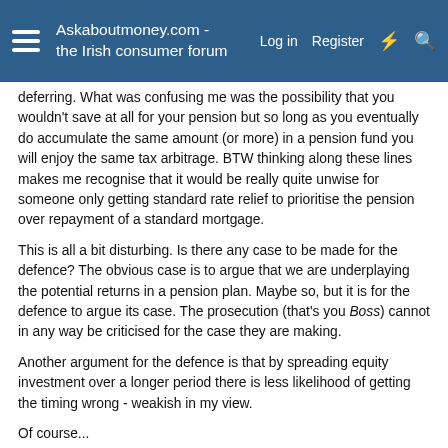Askaboutmoney.com - the Irish consumer forum
deferring. What was confusing me was the possibility that you wouldn't save at all for your pension but so long as you eventually do accumulate the same amount (or more) in a pension fund you will enjoy the same tax arbitrage. BTW thinking along these lines makes me recognise that it would be really quite unwise for someone only getting standard rate relief to prioritise the pension over repayment of a standard mortgage.
This is all a bit disturbing. Is there any case to be made for the defence? The obvious case is to argue that we are underplaying the potential returns in a pension plan. Maybe so, but it is for the defence to argue its case. The prosecution (that's you Boss) cannot in any way be criticised for the case they are making.
Another argument for the defence is that by spreading equity investment over a longer period there is less likelihood of getting the timing wrong - weakish in my view.
Of course...